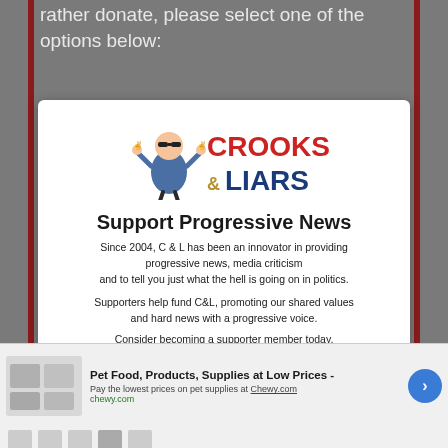rather donate, please select one of the options below:
[Figure (logo): Crooks & Liars logo with cartoon character and red/gold text]
Support Progressive News
Since 2004, C & L has been an innovator in providing progressive news, media criticism and to tell you just what the hell is going on in politics.
Supporters help fund C&L, promoting our shared values and hard news with a progressive voice.
Consider becoming a supporter member today.
[Figure (infographic): Advertisement banner for Pet Food, Products, Supplies at Low Prices - Chewy.com with pet product images and navigation arrow]